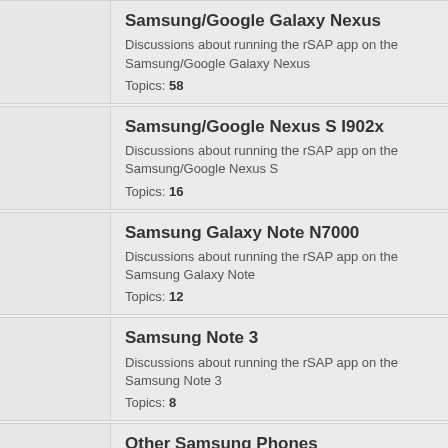Samsung/Google Galaxy Nexus
Discussions about running the rSAP app on the Samsung/Google Galaxy Nexus
Topics: 58
Samsung/Google Nexus S I902x
Discussions about running the rSAP app on the Samsung/Google Nexus S
Topics: 16
Samsung Galaxy Note N7000
Discussions about running the rSAP app on the Samsung Galaxy Note
Topics: 12
Samsung Note 3
Discussions about running the rSAP app on the Samsung Note 3
Topics: 8
Other Samsung Phones
Topics: 60